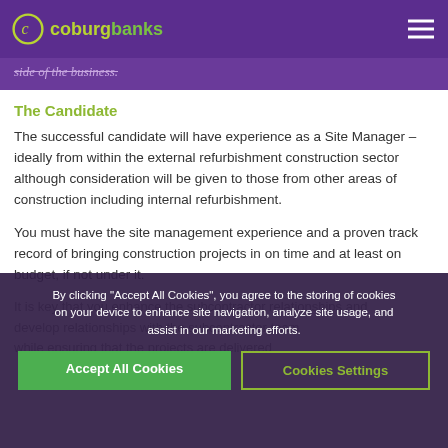coburg banks
side of the business.
The Candidate
The successful candidate will have experience as a Site Manager – ideally from within the external refurbishment construction sector although consideration will be given to those from other areas of construction including internal refurbishment.
You must have the site management experience and a proven track record of bringing construction projects in on time and at least on budget, if not under it.
It is key that you enhance the subcontractor relationships and develop relationships with the subcontractor team while ensuring that the projects are delivered
By clicking "Accept All Cookies", you agree to the storing of cookies on your device to enhance site navigation, analyze site usage, and assist in our marketing efforts.